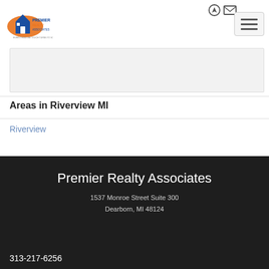[Figure (logo): Premier Realty Associates logo with orange house icon and blue text]
[Figure (other): Hamburger menu button with three horizontal lines]
[Figure (other): Gray content box placeholder area]
Areas in Riverview MI
Riverview
Premier Realty Associates
1537 Monroe Street Suite 300
Dearborn, MI 48124
313-217-6256